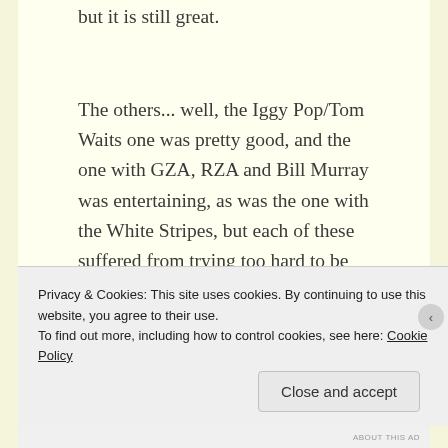but it is still great.
The others... well, the Iggy Pop/Tom Waits one was pretty good, and the one with GZA, RZA and Bill Murray was entertaining, as was the one with the White Stripes, but each of these suffered from trying too hard to be cool. The rest were all bores, and only those two discussed earlier transcended the screen to really leave an impression. They are
Privacy & Cookies: This site uses cookies. By continuing to use this website, you agree to their use.
To find out more, including how to control cookies, see here: Cookie Policy
Close and accept